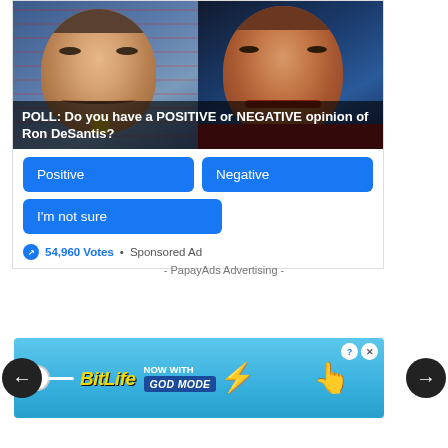[Figure (screenshot): Poll advertisement card showing two politicians side by side with text overlay asking POLL: Do you have a POSITIVE or NEGATIVE opinion of Ron DeSantis? with three blue buttons: Positive, Negative, I'm not sure, and a vote count of 54,960 Votes Sponsored Ad]
- PapayAds Advertising -
[Figure (screenshot): BitLife game advertisement banner with blue background, BitLife logo in yellow, NOW WITH GOD MODE text, pointing hand graphic, and close/help buttons]